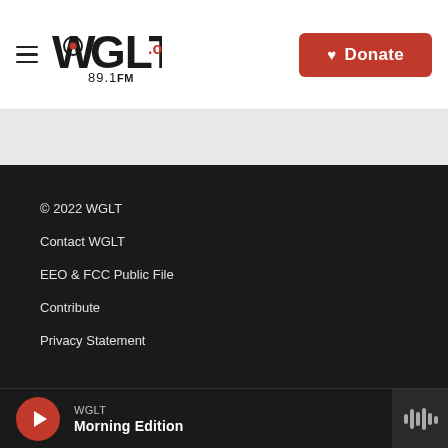WGLT.org 89.1FM — Donate
[Figure (logo): WGLT.org 89.1FM radio station logo in black and red]
© 2022 WGLT
Contact WGLT
EEO & FCC Public File
Contribute
Privacy Statement
WGLT Morning Edition